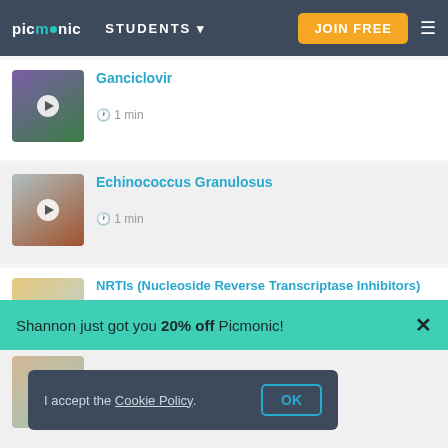picmonic | STUDENTS | JOIN FREE
Ganciclovir — 1 min
Echinococcus Granulosus — 1 min
NRTIs (Nucleoside Reverse Transcriptase Inhibitors) — 1 min
Shannon just got you 20% off Picmonic!
I accept the Cookie Policy. OK